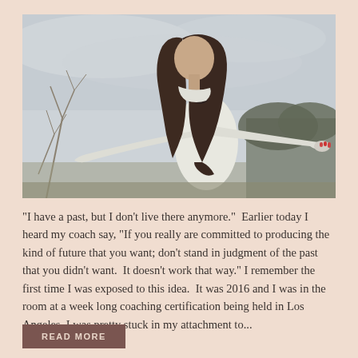[Figure (photo): A young woman with long dark wavy hair, arms outstretched, wearing a white long-sleeve shirt, outdoors against an overcast sky with bare branches in the background.]
"I have a past, but I don't live there anymore."  Earlier today I heard my coach say, "If you really are committed to producing the kind of future that you want; don't stand in judgment of the past that you didn't want.  It doesn't work that way." I remember the first time I was exposed to this idea.  It was 2016 and I was in the room at a week long coaching certification being held in Los Angeles. I was pretty stuck in my attachment to...
READ MORE